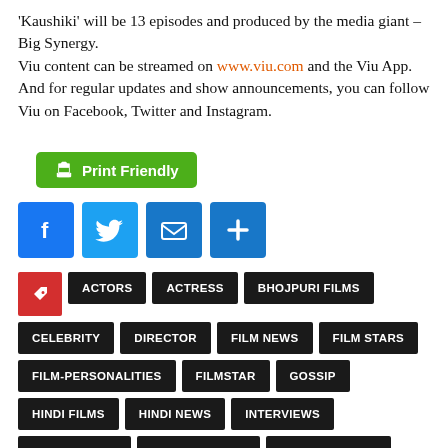'Kaushiki' will be 13 episodes and produced by the media giant – Big Synergy. Viu content can be streamed on www.viu.com and the Viu App. And for regular updates and show announcements, you can follow Viu on Facebook, Twitter and Instagram.
[Figure (other): Print Friendly green button with printer icon]
[Figure (other): Social share icons: Facebook, Twitter, Email, Plus/Share]
ACTORS
ACTRESS
BHOJPURI FILMS
CELEBRITY
DIRECTOR
FILM NEWS
FILM STARS
FILM-PERSONALITIES
FILMSTAR
GOSSIP
HINDI FILMS
HINDI NEWS
INTERVIEWS
LATEST NEWS
LATEST VIDEOS
LATEST-MOVIES
LYRICIST
MARATHI-FILMS